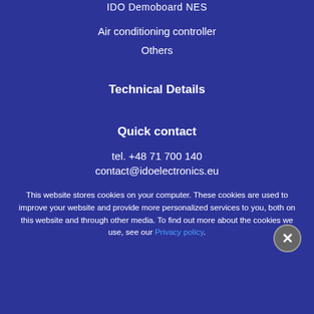IDO Demoboard NES
Air conditioning controller
Others
Technical Details
Quick contact
tel. +48 71 700 140
contact@idoelectronics.eu
This website stores cookies on your computer. These cookies are used to improve your website and provide more personalized services to you, both on this website and through other media. To find out more about the cookies we use, see our Privacy policy.